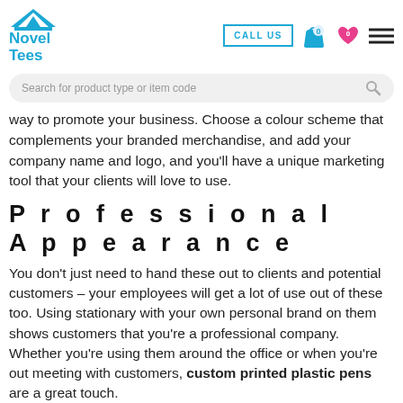Novel Tees — CALL US — navigation header with search bar
way to promote your business. Choose a colour scheme that complements your branded merchandise, and add your company name and logo, and you'll have a unique marketing tool that your clients will love to use.
Professional Appearance
You don't just need to hand these out to clients and potential customers – your employees will get a lot of use out of these too. Using stationary with your own personal brand on them shows customers that you're a professional company. Whether you're using them around the office or when you're out meeting with customers, custom printed plastic pens are a great touch.